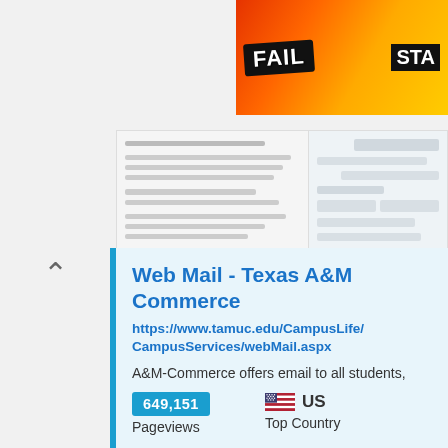[Figure (screenshot): Banner advertisement showing 'FAIL' text in bold on flame background with cartoon character, and 'STA' text on right edge]
[Figure (screenshot): Blurred screenshot of a web form with navigation menu on left and form fields on right]
Web Mail - Texas A&M Commerce
https://www.tamuc.edu/CampusLife/CampusServices/webMail.aspx
A&M-Commerce offers email to all students, faculty, and staff. Please choose an option that matches your designated email service. If you have questions or ...
649,151
Pageviews
US
Top Country